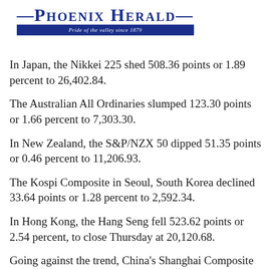—Phoenix Herald— Pride of the valley since 1879
In Japan, the Nikkei 225 shed 508.36 points or 1.89 percent to 26,402.84.
The Australian All Ordinaries slumped 123.30 points or 1.66 percent to 7,303.30.
In New Zealand, the S&P/NZX 50 dipped 51.35 points or 0.46 percent to 11,206.93.
The Kospi Composite in Seoul, South Korea declined 33.64 points or 1.28 percent to 2,592.34.
In Hong Kong, the Hang Seng fell 523.62 points or 2.54 percent, to close Thursday at 20,120.68.
Going against the trend, China's Shanghai Composite gained 10.99 points or 0.36 percent to 3,096.96.